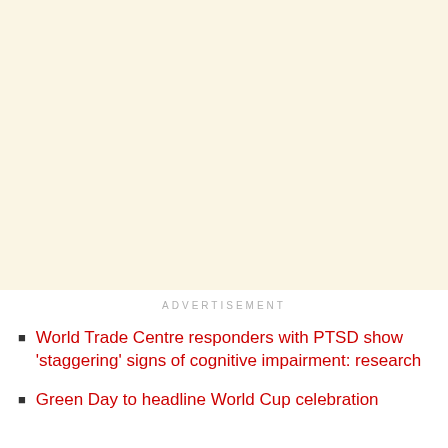[Figure (other): Advertisement placeholder block with cream/beige background]
ADVERTISEMENT
World Trade Centre responders with PTSD show 'staggering' signs of cognitive impairment: research
Green Day to headline World Cup celebration